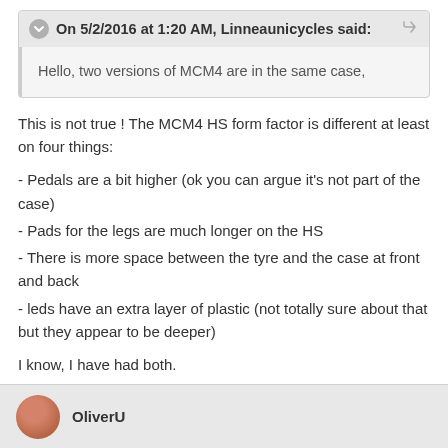On 5/2/2016 at 1:20 AM, Linneaunicycles said:
Hello, two versions of MCM4 are in the same case,
This is not true ! The MCM4 HS form factor is different at least on four things:
- Pedals are a bit higher (ok you can argue it's not part of the case)
- Pads for the legs are much longer on the HS
- There is more space between the tyre and the case at front and back
- leds have an extra layer of plastic (not totally sure about that but they appear to be deeper)
I know, I have had both.
OliverU